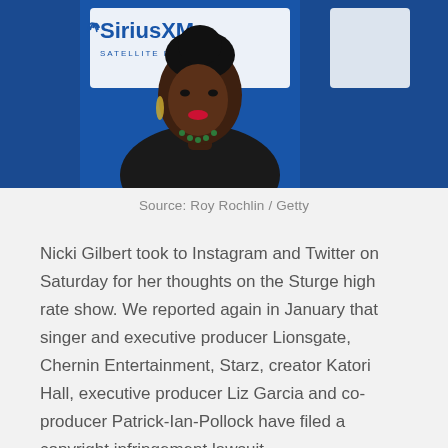[Figure (photo): A Black woman with red lipstick sitting in front of a SiriusXM Satellite Radio banner backdrop, speaking into a microphone, wearing a black turtleneck sweater and a green beaded necklace.]
Source: Roy Rochlin / Getty
Nicki Gilbert took to Instagram and Twitter on Saturday for her thoughts on the Sturge high rate show. We reported again in January that singer and executive producer Lionsgate, Chernin Entertainment, Starz, creator Katori Hall, executive producer Liz Garcia and co-producer Patrick-Ian-Pollock have filed a copyright infringement lawsuit.